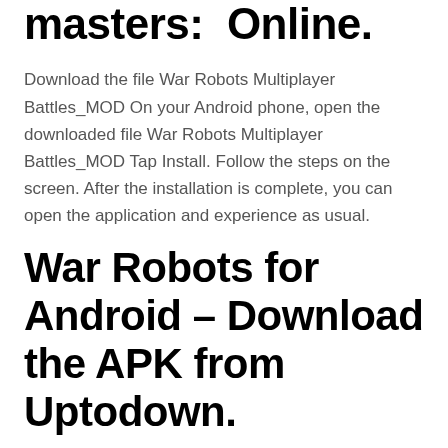masters: Online.
Download the file War Robots Multiplayer Battles_MOD On your Android phone, open the downloaded file War Robots Multiplayer Battles_MOD Tap Install. Follow the steps on the screen. After the installation is complete, you can open the application and experience as usual.
War Robots for Android – Download the APK from Uptodown.
The war robots hack tool features: 3d mech robot shooter in pvp mode! Source: The war robots cheats will generate unlimited amounts of gold for your war robots game as many times as possible all at no cost. The main